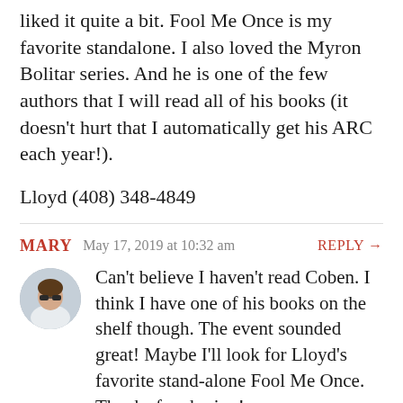liked it quite a bit. Fool Me Once is my favorite standalone. I also loved the Myron Bolitar series. And he is one of the few authors that I will read all of his books (it doesn't hurt that I automatically get his ARC each year!).
Lloyd (408) 348-4849
MARY   May 17, 2019 at 10:32 am   REPLY →
Can't believe I haven't read Coben. I think I have one of his books on the shelf though. The event sounded great! Maybe I'll look for Lloyd's favorite stand-alone Fool Me Once. Thanks for sharing!